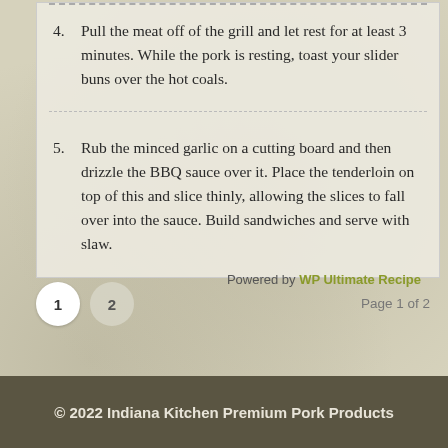4. Pull the meat off of the grill and let rest for at least 3 minutes. While the pork is resting, toast your slider buns over the hot coals.
5. Rub the minced garlic on a cutting board and then drizzle the BBQ sauce over it. Place the tenderloin on top of this and slice thinly, allowing the slices to fall over into the sauce. Build sandwiches and serve with slaw.
Powered by WP Ultimate Recipe
© 2022 Indiana Kitchen Premium Pork Products